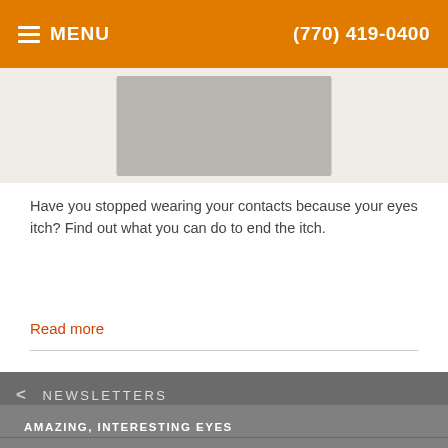MENU  (770) 419-0400
[Figure (photo): Partial photo of a person in a white shirt, cropped at chest/shoulder area]
Have you stopped wearing your contacts because your eyes itch? Find out what you can do to end the itch.
Read more
NEWSLETTERS
AMAZING, INTERESTING EYES
MEDICAL PERSPECTIVES